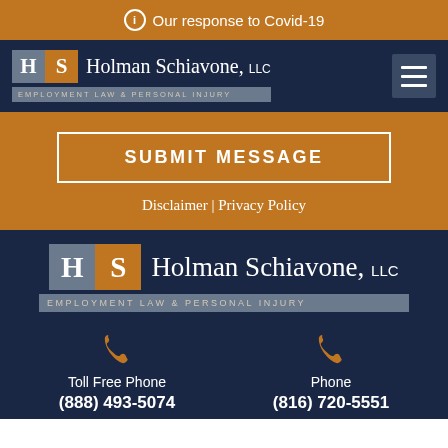Our response to Covid-19
[Figure (logo): Holman Schiavone LLC logo with H and S letter blocks, Employment Law & Personal Injury tagline, and hamburger menu icon]
SUBMIT MESSAGE
Disclaimer | Privacy Policy
[Figure (logo): Holman Schiavone LLC logo with H and S letter blocks, Employment Law & Personal Injury tagline]
Toll Free Phone
(888) 493-5074
Phone
(816) 720-5551